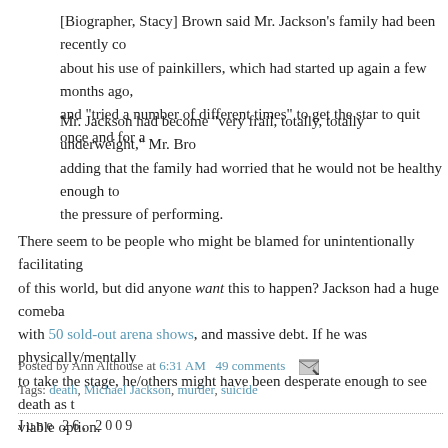[Biographer, Stacy] Brown said Mr. Jackson's family had been recently co about his use of painkillers, which had started up again a few months ago, and "tried a number of different times" to get the star to quit once and for a
Mr. Jackson had become "very frail, totally, totally underweight," Mr. Bro adding that the family had worried that he would not be healthy enough to the pressure of performing.
There seem to be people who might be blamed for unintentionally facilitating of this world, but did anyone want this to happen? Jackson had a huge comeba with 50 sold-out arena shows, and massive debt. If he was physically/mentally to take the stage, he/others might have been desperate enough to see death as t viable option.
Posted by Ann Althouse at 6:31 AM  49 comments
Tags: death, Michael Jackson, murder, suicide
June 26, 2009